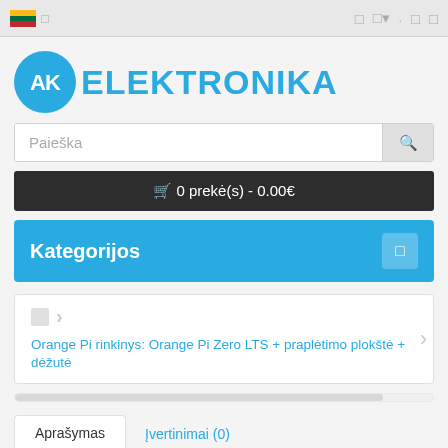AK Elektronika - navigation bar with Lithuanian flag
[Figure (logo): AK Elektronika logo with blue circle containing AK text and ELEKTRONIKA wordmark]
Paieška
🛒 0 prekė(s) - 0.00€
Kategorijos
Orange Pi rinkinys: Orange Pi Zero LTS + praplėtimo plokštė + dėžutė
Aprašymas
Įvertinimai (0)